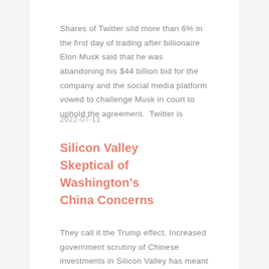Shares of Twitter slid more than 6% in the first day of trading after billionaire Elon Musk said that he was abandoning his $44 billion bid for the company and the social media platform vowed to challenge Musk in court to uphold the agreement. Twitter is
2022-07-11
Silicon Valley Skeptical of Washington's China Concerns
They call it the Trump effect. Increased government scrutiny of Chinese investments in Silicon Valley has meant some deals are not getting done. Some aren't even considered. Usually eager for money and